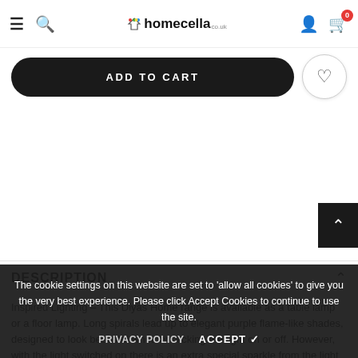homecella — navigation header with hamburger menu, search, logo, user and cart icons
ADD TO CART
DESCRIPTION
Inspired Lighting - This Diyas Home range is available as a table lamp or a floor lamp. Long spirals lead up to elegant purple flame-like shades, designed to look beautiful whether clicking the light on or off. However, with the light switched on there is an extra special sparkle from the light through the high quality material. All the...
The cookie settings on this website are set to 'allow all cookies' to give you the very best experience. Please click Accept Cookies to continue to use the site.
PRIVACY POLICY   ACCEPT ✓